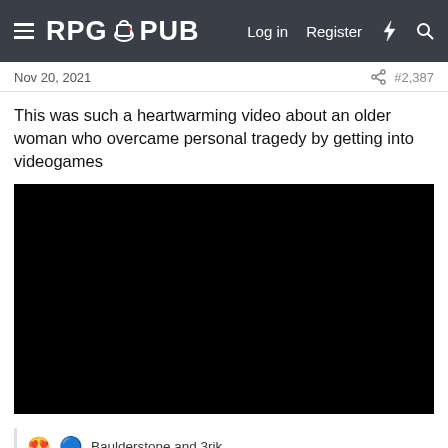RPG PUB — Log in  Register
Nov 20, 2021
#2,387
This was such a heartwarming video about an older woman who overcame personal tragedy by getting into videogames
[Figure (other): Black rectangle representing an embedded video player (no content visible)]
Baulderstone and 3rik